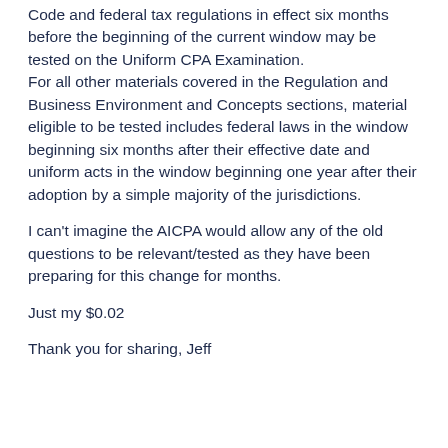Code and federal tax regulations in effect six months before the beginning of the current window may be tested on the Uniform CPA Examination.
For all other materials covered in the Regulation and Business Environment and Concepts sections, material eligible to be tested includes federal laws in the window beginning six months after their effective date and uniform acts in the window beginning one year after their adoption by a simple majority of the jurisdictions.
I can't imagine the AICPA would allow any of the old questions to be relevant/tested as they have been preparing for this change for months.
Just my $0.02
Thank you for sharing, Jeff